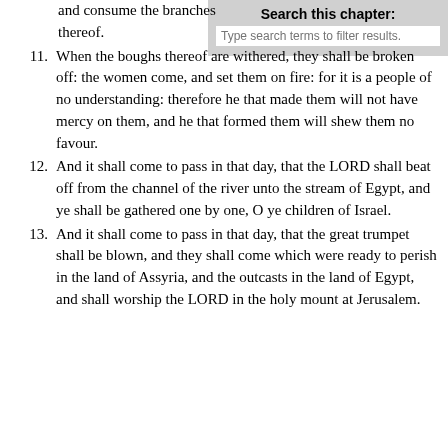[Figure (screenshot): Search box UI element with label 'Search this chapter:' and placeholder text 'Type search terms to filter results.']
and consume the branches thereof.
11. When the boughs thereof are withered, they shall be broken off: the women come, and set them on fire: for it is a people of no understanding: therefore he that made them will not have mercy on them, and he that formed them will shew them no favour.
12. And it shall come to pass in that day, that the LORD shall beat off from the channel of the river unto the stream of Egypt, and ye shall be gathered one by one, O ye children of Israel.
13. And it shall come to pass in that day, that the great trumpet shall be blown, and they shall come which were ready to perish in the land of Assyria, and the outcasts in the land of Egypt, and shall worship the LORD in the holy mount at Jerusalem.